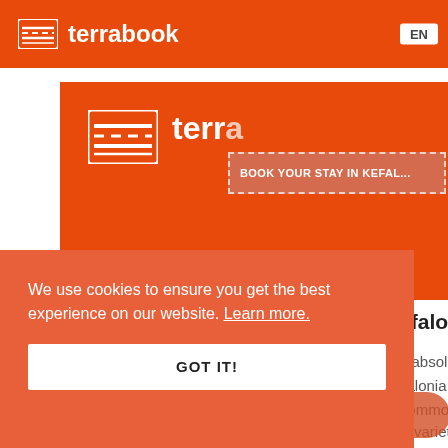terrabook   EN
[Figure (screenshot): Terrabook travel website screenshot showing a second orange header with logo, a tooltip popup reading 'BOOK YOUR STAY IN KEFAL...', two content cards for 'Kefalonia - Access' and 'Kefaloni...' with partial text, and a cookie consent banner with GOT IT button and a partially visible SHOW MAP button.]
Kefalonia - Access
Kefalonia is located approximately in the middle of the Ionian Sea, opposite Peloponnese and at a short ...
Kefaloni...
It is absolu... Kefalonia y... accommod... The variety...
We use cookies to ensure you get the best experience on our website. Learn more.
GOT IT!